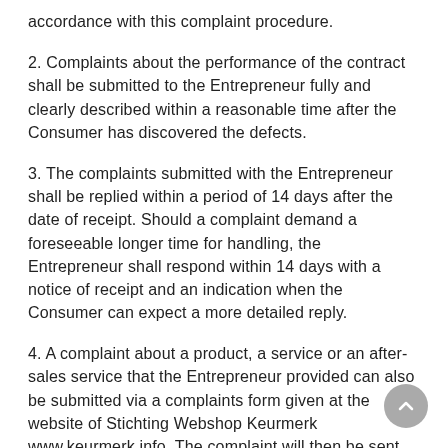accordance with this complaint procedure.
2. Complaints about the performance of the contract shall be submitted to the Entrepreneur fully and clearly described within a reasonable time after the Consumer has discovered the defects.
3. The complaints submitted with the Entrepreneur shall be replied within a period of 14 days after the date of receipt. Should a complaint demand a foreseeable longer time for handling, the Entrepreneur shall respond within 14 days with a notice of receipt and an indication when the Consumer can expect a more detailed reply.
4. A complaint about a product, a service or an after-sales service that the Entrepreneur provided can also be submitted via a complaints form given at the website of Stichting Webshop Keurmerk www.keurmerk.info. The complaint will then be sent both to the Entrepreneur in question and to Stichting Webshop Keurmerk.